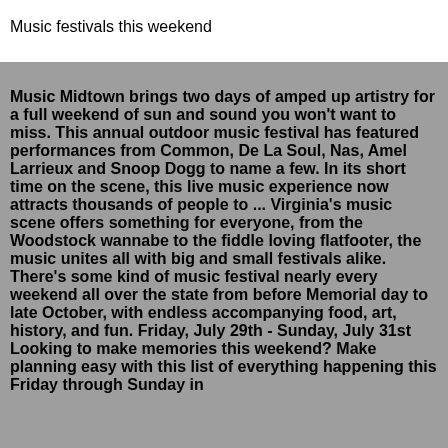Music festivals this weekend
Music Midtown brings two days of amped up artistry for a full weekend of sun and sound you won't want to miss. This annual outdoor music festival has featured performances from Common, De La Soul, Nas, Amel Larrieux and Snoop Dogg to name a few. In its short time on the scene, this live music experience now attracts thousands of people to ... Virginia's music scene offers something for everyone, from the Woodstock wannabe to the fiddle loving flatfooter, the music unites all with big and small festivals alike. There's some kind of music festival nearly every weekend all over the state from before Memorial day to late October, with endless accompanying food, art, history, and fun. Friday, July 29th - Sunday, July 31st Looking to make memories this weekend? Make planning easy with this list of everything happening this Friday through Sunday in